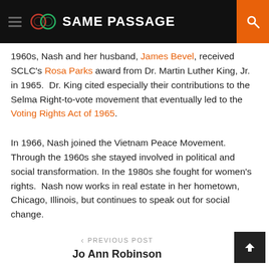SAME PASSAGE
1960s, Nash and her husband, James Bevel, received SCLC's Rosa Parks award from Dr. Martin Luther King, Jr. in 1965. Dr. King cited especially their contributions to the Selma Right-to-vote movement that eventually led to the Voting Rights Act of 1965.
In 1966, Nash joined the Vietnam Peace Movement. Through the 1960s she stayed involved in political and social transformation. In the 1980s she fought for women's rights. Nash now works in real estate in her hometown, Chicago, Illinois, but continues to speak out for social change.
< PREVIOUS POST
Jo Ann Robinson